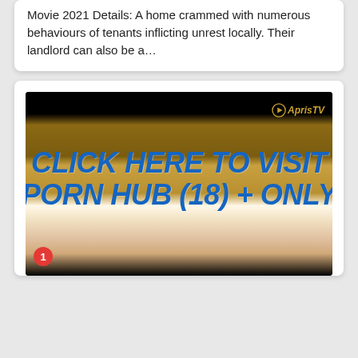Movie 2021 Details: A home crammed with numerous behaviours of tenants inflicting unrest locally. Their landlord can also be a…
[Figure (screenshot): Screenshot of a video player showing a movie clip with a large blue text overlay reading 'CLICK HERE TO VISIT PORN HUB (18) + ONLY', with a watermark 'AprisTV' in the top right corner, and a notification popup at the bottom showing an ad from easiantube.com with title 'Asian Teen Fucked By big...' and subtitle 'Exclusive Asian xxx videos for free', and 'Ads By ClickAdilla 2j5' in the footer.]